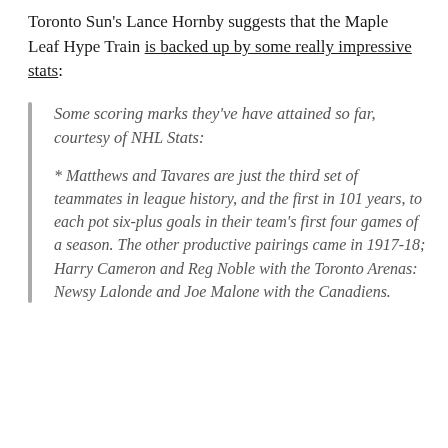Toronto Sun's Lance Hornby suggests that the Maple Leaf Hype Train is backed up by some really impressive stats:
Some scoring marks they've have attained so far, courtesy of NHL Stats:
* Matthews and Tavares are just the third set of teammates in league history, and the first in 101 years, to each pot six-plus goals in their team's first four games of a season. The other productive pairings came in 1917-18; Harry Cameron and Reg Noble with the Toronto Arenas: Newsy Lalonde and Joe Malone with the Canadiens.